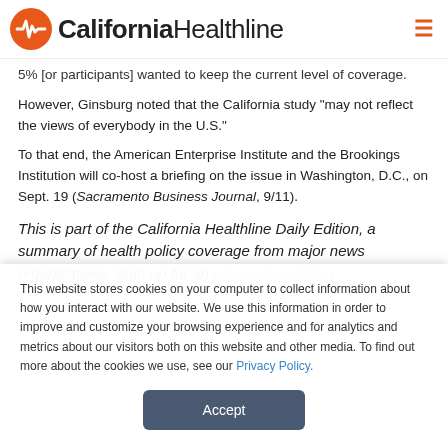California Healthline
5% [or participants] wanted to keep the current level of coverage.
However, Ginsburg noted that the California study "may not reflect the views of everybody in the U.S."
To that end, the American Enterprise Institute and the Brookings Institution will co-host a briefing on the issue in Washington, D.C., on Sept. 19 (Sacramento Business Journal, 9/11).
This is part of the California Healthline Daily Edition, a summary of health policy coverage from major news organizations. Sign up for an email subscription
This website stores cookies on your computer to collect information about how you interact with our website. We use this information in order to improve and customize your browsing experience and for analytics and metrics about our visitors both on this website and other media. To find out more about the cookies we use, see our Privacy Policy.